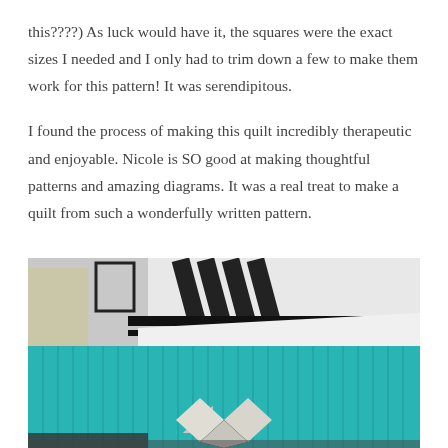this????) As luck would have it, the squares were the exact sizes I needed and I only had to trim down a few to make them work for this pattern! It was serendipitous.
I found the process of making this quilt incredibly therapeutic and enjoyable. Nicole is SO good at making thoughtful patterns and amazing diagrams. It was a real treat to make a quilt from such a wonderfully written pattern.
[Figure (photo): A teal/turquoise quilt draped over a stair railing, showing quilted vertical lines and a geometric arrow/chevron design in white/silver at the bottom center. Black and white striped banister visible in background, along with white walls and a framed picture.]